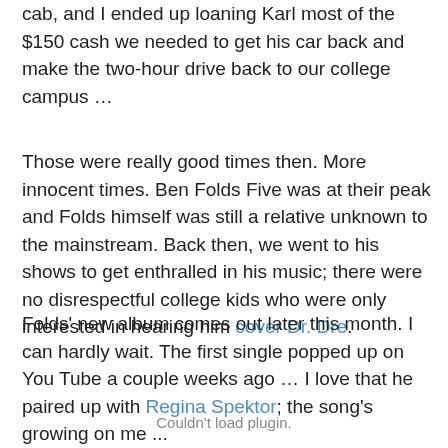cab, and I ended up loaning Karl most of the $150 cash we needed to get his car back and make the two-hour drive back to our college campus …
Those were really good times then. More innocent times. Ben Folds Five was at their peak and Folds himself was still a relative unknown to the mainstream. Back then, we went to his shows to get enthralled in his music; there were no disrespectful college kids who were only interested in hearing him cover Dr. Dre.
Folds' new album comes out later this month. I can hardly wait. The first single popped up on You Tube a couple weeks ago … I love that he paired up with Regina Spektor; the song's growing on me ...
Couldn't load plugin.